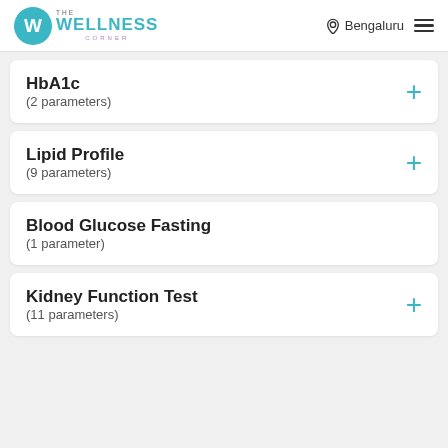The Wellness Corner — Bengaluru
HbA1c (2 parameters)
Lipid Profile (9 parameters)
Blood Glucose Fasting (1 parameter)
Kidney Function Test (11 parameters)